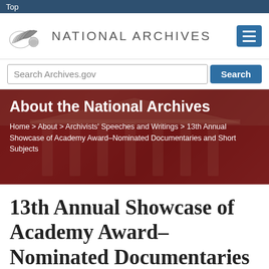Top
[Figure (logo): National Archives logo with wave icon and text NATIONAL ARCHIVES]
Search Archives.gov Search
[Figure (photo): Background photo of the National Archives building with red overlay, showing classical columns]
About the National Archives
Home > About > Archivists' Speeches and Writings > 13th Annual Showcase of Academy Award–Nominated Documentaries and Short Subjects
13th Annual Showcase of Academy Award–Nominated Documentaries and Short Subjects